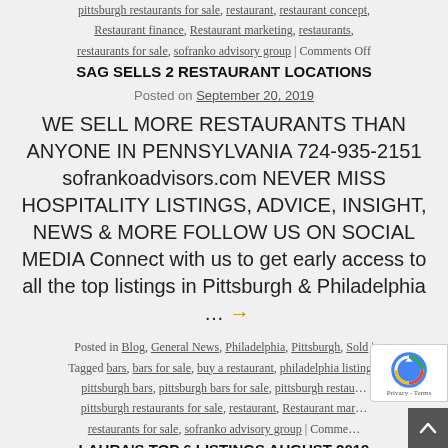pittsburgh restaurants for sale, restaurant, restaurant concept, Restaurant finance, Restaurant marketing, restaurants, restaurants for sale, sofranko advisory group | Comments Off
SAG SELLS 2 RESTAURANT LOCATIONS
Posted on September 20, 2019
WE SELL MORE RESTAURANTS THAN ANYONE IN PENNSYLVANIA 724-935-2151 sofrankoadvisors.com NEVER MISS HOSPITALITY LISTINGS, ADVICE, INSIGHT, NEWS & MORE FOLLOW US ON SOCIAL MEDIA Connect with us to get early access to all the top listings in Pittsburgh & Philadelphia … →
Posted in Blog, General News, Philadelphia, Pittsburgh, Sold | Tagged bars, bars for sale, buy a restaurant, philadelphia listings, pittsburgh bars, pittsburgh bars for sale, pittsburgh restaurants, pittsburgh restaurants for sale, restaurant, Restaurant marketing, restaurants for sale, sofranko advisory group | Comments
LAURA'S TOP 6 LISTINGS AUGUST 2019